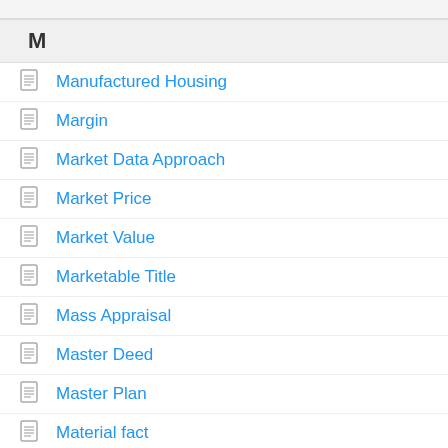M
Manufactured Housing
Margin
Market Data Approach
Market Price
Market Value
Marketable Title
Mass Appraisal
Master Deed
Master Plan
Material fact
Maturity Date